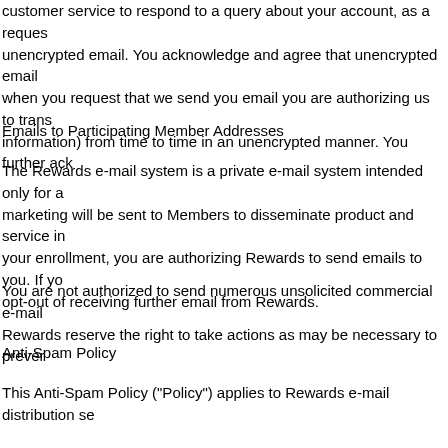customer service to respond to a query about your account, as a request unencrypted email. You acknowledge and agree that unencrypted email when you request that we send you email you are authorizing us to trans information) from time to time in an unencrypted manner. You further ack
Emails to Participating Member Addresses
The Rewards e-mail system is a private e-mail system intended only for marketing will be sent to Members to disseminate product and service in your enrollment, you are authorizing Rewards to send emails to you. If yo opt-out of receiving further email from Rewards.
You are not authorized to send numerous unsolicited commercial e-mail Rewards reserve the right to take actions as may be necessary to prever
Anti-Spam Policy
This Anti-Spam Policy ("Policy") applies to Rewards e-mail distribution se
Recipients of E-mail through Rewards' E-Mail Services
Why You Received the E-Mail. If you received an e-mail through R being an account holder or (ii) have an existing business relations purpose of receiving information in the future ("opted-in").
How to Un-Subscribe. Rewards has included at the end of each e- your are subscribed to, or to change your expressed interests. If y
Reporting Violations. If you suspect any violation of this Policy, the
ISP and Blacklist Admin Relations Rewards values its relationships with